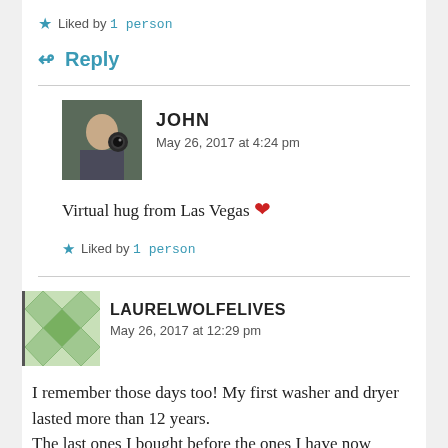★ Liked by 1 person
↳ Reply
JOHN
May 26, 2017 at 4:24 pm
Virtual hug from Las Vegas ❤
★ Liked by 1 person
LAURELWOLFELIVES
May 26, 2017 at 12:29 pm
I remember those days too! My first washer and dryer lasted more than 12 years.
The last ones I bought before the ones I have now